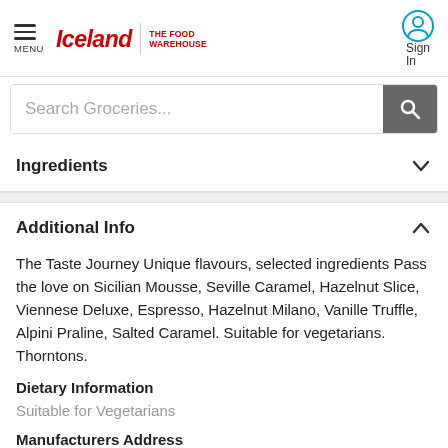Iceland | the food WAREHOUSE — MENU | Sign In
Search Groceries...
Ingredients
Additional Info
The Taste Journey Unique flavours, selected ingredients Pass the love on Sicilian Mousse, Seville Caramel, Hazelnut Slice, Viennese Deluxe, Espresso, Hazelnut Milano, Vanille Truffle, Alpini Praline, Salted Caramel. Suitable for vegetarians. Thorntons.
Dietary Information
Suitable for Vegetarians
Manufacturers Address
(UK) Thorntons, Thornton Park, Somercotes, Alfreton